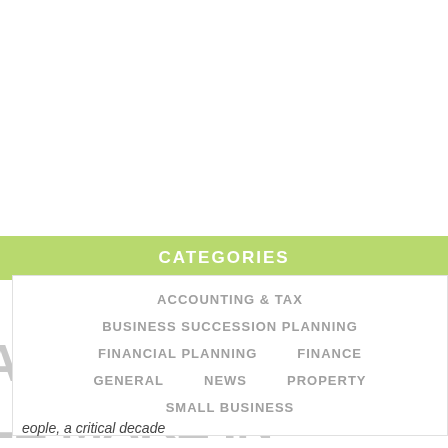CATEGORIES
ACCOUNTING & TAX
BUSINESS SUCCESSION PLANNING
FINANCIAL PLANNING
FINANCE
GENERAL
NEWS
PROPERTY
SMALL BUSINESS
eople, a critical decade